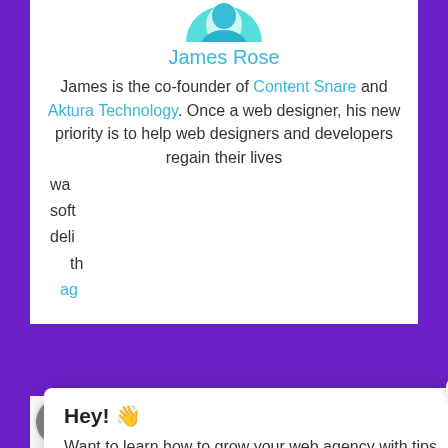[Figure (photo): Partial avatar/profile photo at top center, teal/blue color]
James Rose
James is the co-founder of Content Snare and Aktura Technology. Once a web designer, his new priority is to help web designers and developers regain their lives wa... soft... deli... th... ag...
[Figure (screenshot): Popup modal overlay with Hey! heading, text about growing web agency, bullet list, and Yes show me how button]
- How to convert more clients
- The best tools to use
- Creating processes
[Figure (photo): Small circular avatar photo of a man in white shirt at bottom left]
SHARES